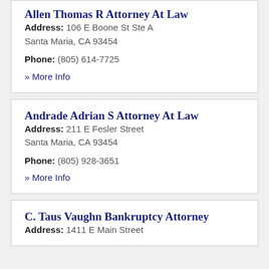Allen Thomas R Attorney At Law
Address: 106 E Boone St Ste A
Santa Maria, CA 93454
Phone: (805) 614-7725
» More Info
Andrade Adrian S Attorney At Law
Address: 211 E Fesler Street
Santa Maria, CA 93454
Phone: (805) 928-3651
» More Info
C. Taus Vaughn Bankruptcy Attorney
Address: 1411 E Main Street